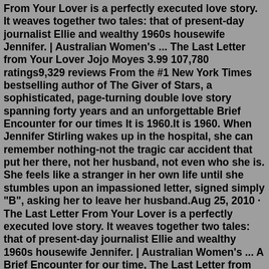From Your Lover is a perfectly executed love story. It weaves together two tales: that of present-day journalist Ellie and wealthy 1960s housewife Jennifer. | Australian Women's ... The Last Letter from Your Lover Jojo Moyes 3.99 107,780 ratings9,329 reviews From the #1 New York Times bestselling author of The Giver of Stars, a sophisticated, page-turning double love story spanning forty years and an unforgettable Brief Encounter for our times It is 1960.It is 1960. When Jennifer Stirling wakes up in the hospital, she can remember nothing-not the tragic car accident that put her there, not her husband, not even who she is. She feels like a stranger in her own life until she stumbles upon an impassioned letter, signed simply "B", asking her to leave her husband.Aug 25, 2010 · The Last Letter From Your Lover is a perfectly executed love story. It weaves together two tales: that of present-day journalist Ellie and wealthy 1960s housewife Jennifer. | Australian Women's ... A Brief Encounter for our time, The Last Letter from Your Lover is a sophisticated